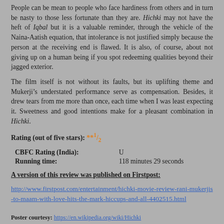People can be mean to people who face hardiness from others and in turn be nasty to those less fortunate than they are. Hichki may not have the heft of Iqbal but it is a valuable reminder, through the vehicle of the Naina-Aatish equation, that intolerance is not justified simply because the person at the receiving end is flawed. It is also, of course, about not giving up on a human being if you spot redeeming qualities beyond their jagged exterior.
The film itself is not without its faults, but its uplifting theme and Mukerji’s understated performance serve as compensation. Besides, it drew tears from me more than once, each time when I was least expecting it. Sweetness and good intentions make for a pleasant combination in Hichki.
Rating (out of five stars): **1/2
| CBFC Rating (India): | U |
| Running time: | 118 minutes 29 seconds |
A version of this review was published on Firstpost:
http://www.firstpost.com/entertainment/hichki-movie-review-rani-mukerjis-to-maam-with-love-hits-the-mark-hiccups-and-all-4402515.html
Poster courtesy: https://en.wikipedia.org/wiki/Hichki